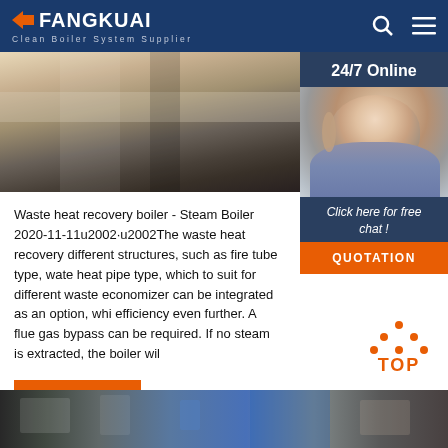FANGKUAI - Clean Boiler System Supplier
[Figure (photo): Industrial boiler equipment photo showing metallic surfaces and machinery in facility]
[Figure (photo): 24/7 Online customer service representative - woman with headset smiling, with Click here for free chat and QUOTATION button overlay]
Waste heat recovery boiler - Steam Boiler 2020-11-11u2002·u2002The waste heat recovery different structures, such as fire tube type, wate heat pipe type, which to suit for different waste economizer can be integrated as an option, whi efficiency even further. A flue gas bypass can be required. If no steam is extracted, the boiler wil
Get Price
[Figure (other): TOP back to top button icon with orange dots and text]
[Figure (photo): Bottom banner photo showing industrial machinery and equipment]